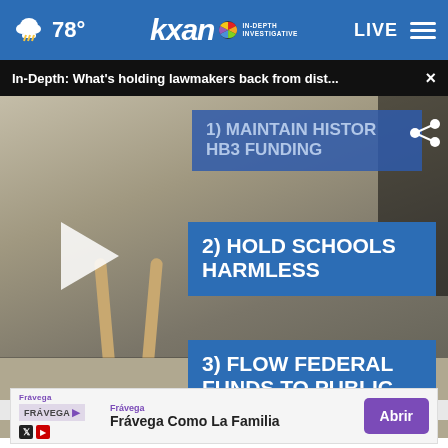KXAN In-Depth Investigative — 78° — LIVE
In-Depth: What's holding lawmakers back from dist... ×
[Figure (screenshot): Video thumbnail showing a stool on tiled floor with three blue overlay boxes listing: 1) MAINTAIN HISTORIC HB3 FUNDING, 2) HOLD SCHOOLS HARMLESS, 3) FLOW FEDERAL FUNDS TO PUBLIC SCHOOLS. A play button triangle is visible on the left side.]
Frávega — Frávega Como La Familia — Abrir